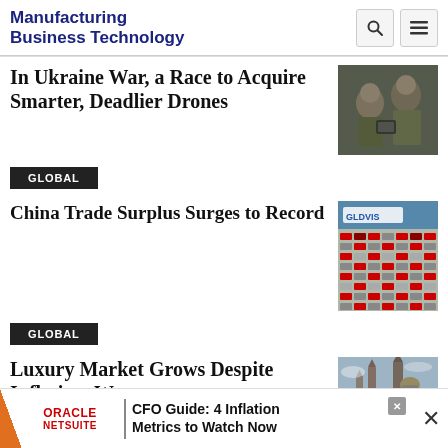Manufacturing Business Technology
In Ukraine War, a Race to Acquire Smarter, Deadlier Drones
[Figure (photo): Two soldiers in camouflage looking at a device]
GLOBAL
China Trade Surplus Surges to Record
[Figure (photo): Aerial view of cars at port with GLOVIS sign]
GLOBAL
Luxury Market Grows Despite Inflation, War
[Figure (photo): Moscow Red Square with church spires]
ORACLE NETSUITE | CFO Guide: 4 Inflation Metrics to Watch Now